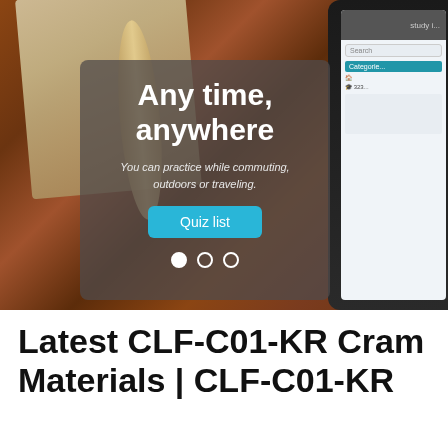[Figure (photo): Banner image showing a notebook, pen/ring binder, wooden surface, and a mobile device with a quiz app interface on the right side.]
Any time, anywhere
You can practice while commuting, outdoors or traveling.
Quiz list
Latest CLF-C01-KR Cram Materials | CLF-C01-KR